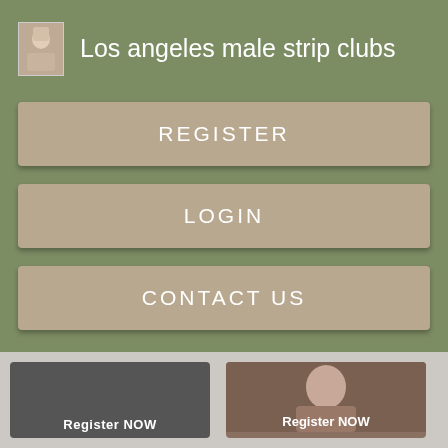[Figure (screenshot): Mobile web app overlay with olive green background showing navigation menu with REGISTER, LOGIN, CONTACT US buttons, a header with thumbnail image and title 'Los angeles male strip clubs', and below a white content card showing 'Views: 73808' with like and comment icons, and bottom thumbnail cards with 'Register NOW' text]
Los angeles male strip clubs
REGISTER
LOGIN
CONTACT US
Views: 73808
Register NOW